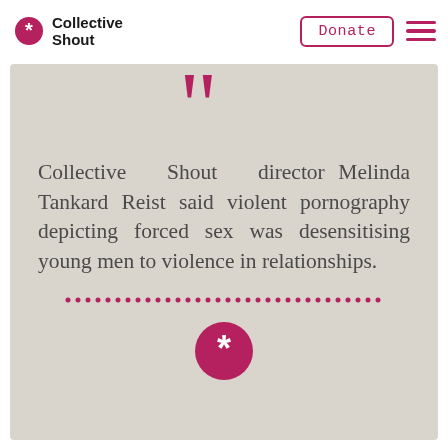[Figure (logo): Collective Shout logo with asterisk star icon and text 'Collective Shout']
Donate
[Figure (illustration): Hamburger menu icon (three horizontal pink lines)]
Collective Shout director Melinda Tankard Reist said violent pornography depicting forced sex was desensitising young men to violence in relationships.